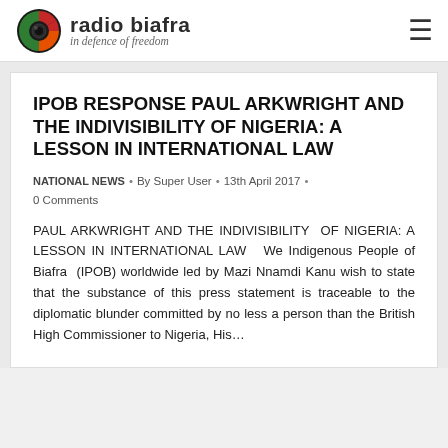[Figure (logo): Radio Biafra logo: circular icon with red, green and orange/yellow segments on black background, followed by bold text 'radio biafra' and italic tagline 'in defence of freedom']
IPOB RESPONSE PAUL ARKWRIGHT AND THE INDIVISIBILITY OF NIGERIA: A LESSON IN INTERNATIONAL LAW
NATIONAL NEWS • By Super User • 13th April 2017 • 0 Comments
PAUL ARKWRIGHT AND THE INDIVISIBILITY OF NIGERIA: A LESSON IN INTERNATIONAL LAW   We Indigenous People of Biafra  (IPOB) worldwide led by Mazi Nnamdi Kanu wish to state that the substance of this press statement is traceable to the diplomatic blunder committed by no less a person than the British High Commissioner to Nigeria, His…